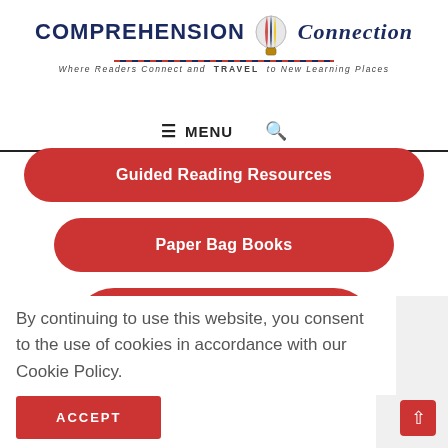[Figure (logo): Comprehension Connection logo with hot air balloon, tagline 'Where Readers Connect and TRAVEL to New Learning Places']
≡ MENU 🔍
Guided Reading Resources
Paper Bag Books
By continuing to use this website, you consent to the use of cookies in accordance with our Cookie Policy.
ACCEPT